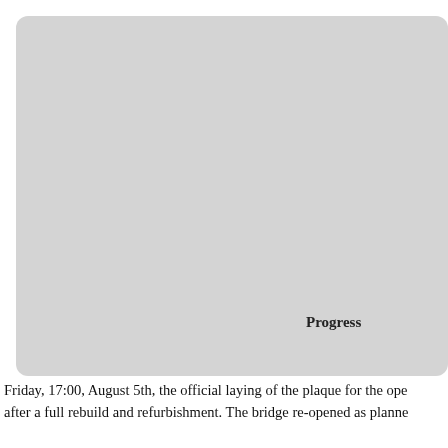[Figure (photo): Large grey placeholder image area representing a photograph, with rounded corners. A bold label 'Progress' appears in the lower right area of the image.]
Friday, 17:00, August 5th, the official laying of the plaque for the ope after a full rebuild and refurbishment. The bridge re-opened as planne